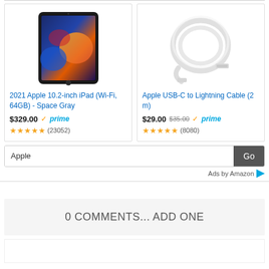[Figure (screenshot): Amazon product card: 2021 Apple 10.2-inch iPad (Wi-Fi, 64GB) - Space Gray, $329.00, Prime, 4.5 stars (23052 reviews)]
[Figure (screenshot): Amazon product card: Apple USB-C to Lightning Cable (2 m), $29.00 (was $35.00), Prime, 4.5 stars (8080 reviews)]
Apple [Go button] Ads by Amazon
0 COMMENTS... ADD ONE